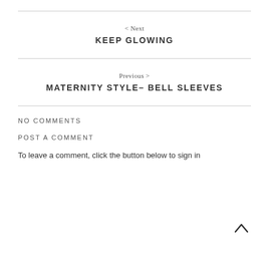< Next
KEEP GLOWING
Previous >
MATERNITY STYLE– BELL SLEEVES
NO COMMENTS
POST A COMMENT
To leave a comment, click the button below to sign in